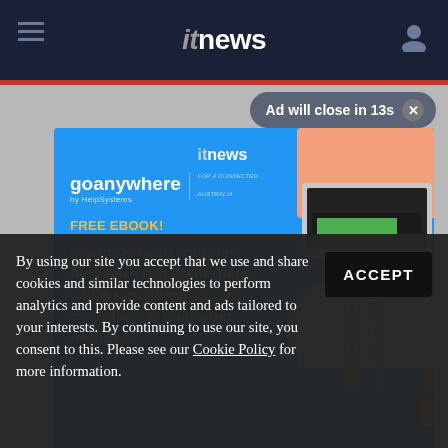itnews
Ad will close in 13s ✕
[Figure (infographic): GoAnywhere by HelpSystems advertisement banner on ITnews website. Blue background with illustration of hands transferring files to/from a laptop over a cloud with security lock icon. Text: FREE EBOOK! Learn: How to transfer files between customers while remaining secure, compliant & customer friendly!]
By using our site you accept that we use and share cookies and similar technologies to perform analytics and provide content and ads tailored to your interests. By continuing to use our site, you consent to this. Please see our Cookie Policy for more information.